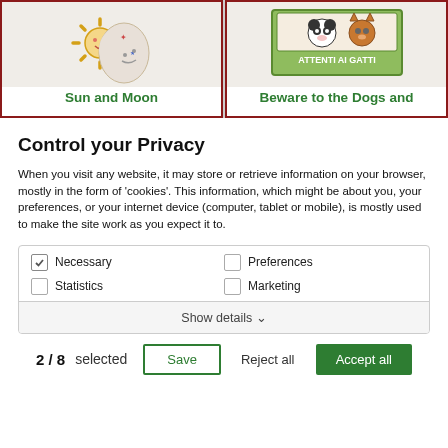[Figure (photo): Sun and Moon decorative pin/brooch with gold sun and blue/white moon design]
Sun and Moon
[Figure (photo): ATTENTI AI GATTI sign with panda and cat illustrations on green background]
Beware to the Dogs and
Control your Privacy
When you visit any website, it may store or retrieve information on your browser, mostly in the form of 'cookies'. This information, which might be about you, your preferences, or your internet device (computer, tablet or mobile), is mostly used to make the site work as you expect it to.
Necessary (checked)
Preferences (unchecked)
Statistics (unchecked)
Marketing (unchecked)
Show details ▾
2 / 8 selected   Save   Reject all   Accept all